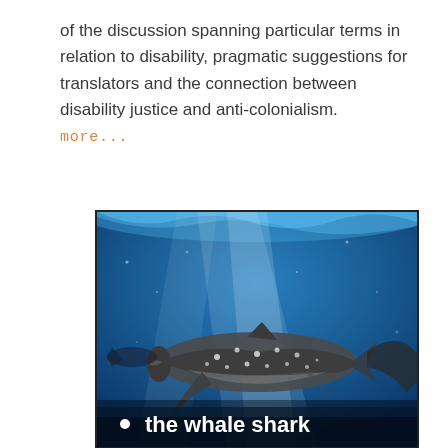of the discussion spanning particular terms in relation to disability, pragmatic suggestions for translators and the connection between disability justice and anti-colonialism.
more...
[Figure (photo): Underwater photograph of a whale shark swimming in deep blue ocean water, with light rays visible from the surface above. Text overlay at the bottom reads '• the whale shark'.]